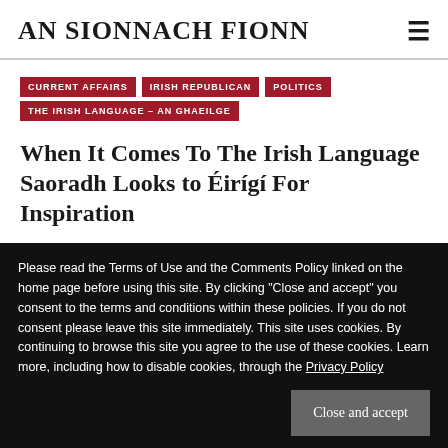AN SIONNACH FIONN
CURRENT AFFAIRS
IRISH REPUBLICAN
POLITICS
THE IRISH LANGUAGE – AN GHAEILGE
When It Comes To The Irish Language Saoradh Looks to Éirígí For Inspiration
OCTOBER 21, 2016
Please read the Terms of Use and the Comments Policy linked on the home page before using this site. By clicking "Close and accept" you consent to the terms and conditions within these policies. If you do not consent please leave this site immediately. This site uses cookies. By continuing to browse this site you agree to the use of these cookies. Learn more, including how to disable cookies, through the Privacy Policy